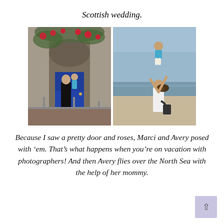Scottish wedding.
[Figure (photo): Two side-by-side photos. Left: A woman holding a small child in front of an arched stone doorway with a blue door and red roses. Right: A woman tossing a toddler high in the air on a beach near the sea.]
Because I saw a pretty door and roses, Marci and Avery posed with ‘em. That’s what happens when you’re on vacation with photographers! And then Avery flies over the North Sea with the help of her mommy.